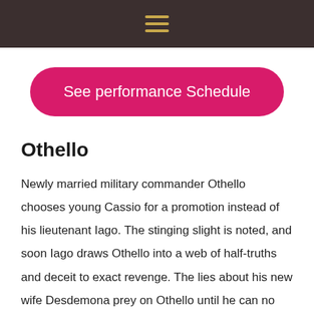☰
[Figure (other): Pink rounded rectangle button labeled 'See performance Schedule']
Othello
Newly married military commander Othello chooses young Cassio for a promotion instead of his lieutenant Iago. The stinging slight is noted, and soon Iago draws Othello into a web of half-truths and deceit to exact revenge. The lies about his new wife Desdemona prey on Othello until he can no longer determine what is true or false. The pressure to relieve his intense doubt leads to a dangerous and lethal assault that